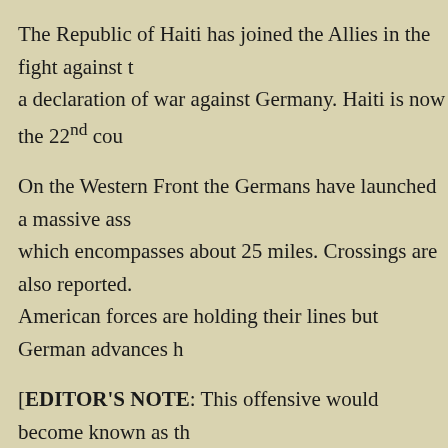The Republic of Haiti has joined the Allies in the fight against a declaration of war against Germany. Haiti is now the 22nd cou
On the Western Front the Germans have launched a massive assault which encompasses about 25 miles. Crossings are also reported. American forces are holding their lines but German advances h
[EDITOR'S NOTE: This offensive would become known as the French and American positions from July 15 through August 6. be sent to support the troops in the south allowing the German a British Expeditionary Force. The plan failed as French and American forces held. The Germans suffered over 12,000 dead or wounded. The French suffered over 95,000 dead wounded and 28,367 taken prisoner.]
GET YOUR COPY BY CLICKING HERE
Posted | Tagged 1918, 2nd Battle of the Marne, American Casualty List, Delaware, River Ships and Baseball League, Dixons, Plymouth D